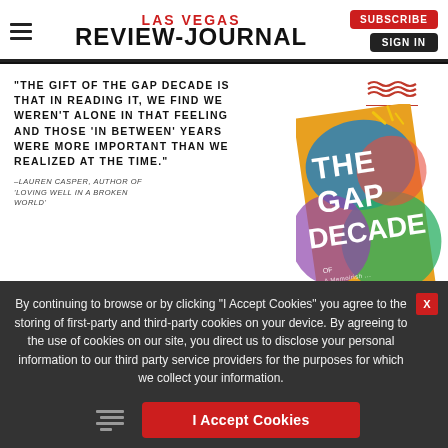LAS VEGAS REVIEW-JOURNAL | SUBSCRIBE | SIGN IN
[Figure (illustration): Advertisement for 'The Gap Decade' book published by IVP. Left side shows a pull quote in bold uppercase: '"THE GIFT OF THE GAP DECADE IS THAT IN READING IT, WE FIND WE WEREN'T ALONE IN THAT FEELING AND THOSE 'IN BETWEEN' YEARS WERE MORE IMPORTANT THAN WE REALIZED AT THE TIME."' attributed to '–LAUREN CASPER, AUTHOR OF 'LOVING WELL IN A BROKEN WORLD''. IVP logo (red wavy lines above 'ivp' text) in top right. A colorful book cover for 'THE GAP DECADE' is shown on the right side. A 'Pre-order now at' pill button at bottom center.]
By continuing to browse or by clicking "I Accept Cookies" you agree to the storing of first-party and third-party cookies on your device. By agreeing to the use of cookies on our site, you direct us to disclose your personal information to our third party service providers for the purposes for which we collect your information.
I Accept Cookies